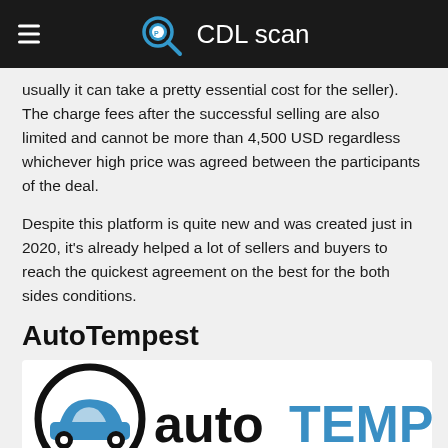CDL scan
usually it can take a pretty essential cost for the seller). The charge fees after the successful selling are also limited and cannot be more than 4,500 USD regardless whichever high price was agreed between the participants of the deal.
Despite this platform is quite new and was created just in 2020, it's already helped a lot of sellers and buyers to reach the quickest agreement on the best for the both sides conditions.
AutoTempest
[Figure (logo): AutoTempest logo: a circular magnifying glass icon with a car silhouette inside, followed by the text 'auto' in black and 'TEMPEST' in blue.]
This can become a great tool to find a used car's best